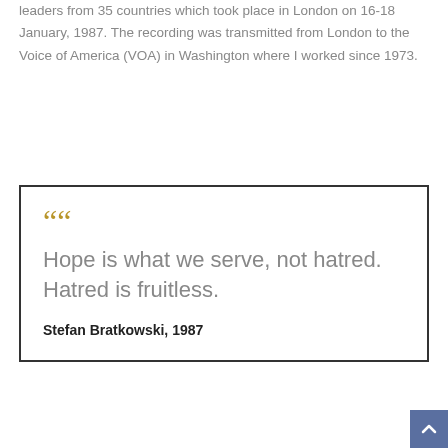leaders from 35 countries which took place in London on 16-18 January, 1987. The recording was transmitted from London to the Voice of America (VOA) in Washington where I worked since 1973.
““ Hope is what we serve, not hatred. Hatred is fruitless. Stefan Bratkowski, 1987